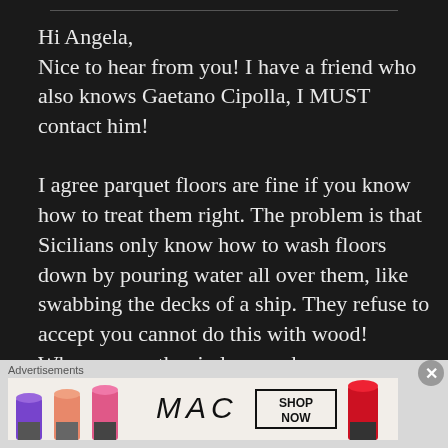Hi Angela,
Nice to hear from you! I have a friend who also knows Gaetano Cipolla, I MUST contact him!

I agree parquet floors are fine if you know how to treat them right. The problem is that Sicilians only know how to wash floors down by pouring water all over them, like swabbing the decks of a ship. They refuse to accept you cannot do this with wood!
When my mother in law washes
[Figure (photo): MAC cosmetics advertisement banner showing purple, peach, and pink lipsticks alongside the MAC logo and a SHOP NOW button with a red lipstick on the right side.]
Advertisements